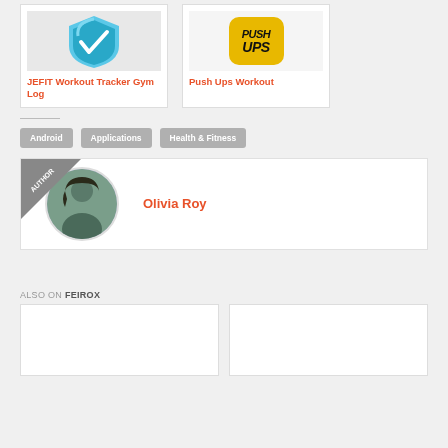[Figure (illustration): JEFIT Workout Tracker Gym Log app icon - shield shape in blue/teal]
JEFIT Workout Tracker Gym Log
[Figure (illustration): Push Ups Workout app icon - yellow rounded square with PUSH UPS text]
Push Ups Workout
Android
Applications
Health & Fitness
AUTHOR Olivia Roy
ALSO ON FEIROX